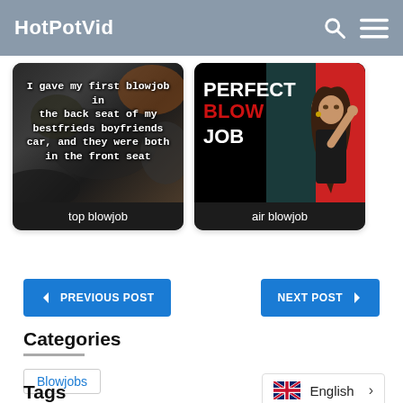HotPotVid
[Figure (screenshot): Video thumbnail 1: dark background with text overlay 'I gave my first blowjob in the back seat of my bestfrieds boyfriends car, and they were both in the front seat'. Label at bottom: 'top blowjob']
[Figure (screenshot): Video thumbnail 2: black background with text PERFECT BLOW JOB and a woman photo. Label at bottom: 'air blowjob']
PREVIOUS POST
NEXT POST
Categories
Blowjobs
Tags
English